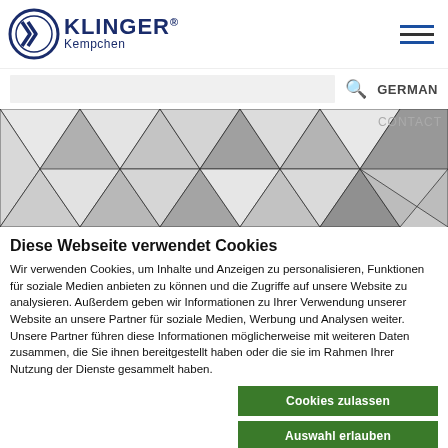[Figure (logo): KLINGER Kempchen logo with circular emblem on the left and company name on the right]
[Figure (illustration): Hamburger menu icon with three horizontal lines, top and bottom lines in blue]
[Figure (illustration): Search bar input area with magnifying glass icon and GERMAN language label]
[Figure (photo): Abstract geometric triangular pattern in shades of grey and white, banner/hero image with CONTACT label in upper right]
Diese Webseite verwendet Cookies
Wir verwenden Cookies, um Inhalte und Anzeigen zu personalisieren, Funktionen für soziale Medien anbieten zu können und die Zugriffe auf unsere Website zu analysieren. Außerdem geben wir Informationen zu Ihrer Verwendung unserer Website an unsere Partner für soziale Medien, Werbung und Analysen weiter. Unsere Partner führen diese Informationen möglicherweise mit weiteren Daten zusammen, die Sie ihnen bereitgestellt haben oder die sie im Rahmen Ihrer Nutzung der Dienste gesammelt haben.
Cookies zulassen
Auswahl erlauben
Nur notwendige Cookies